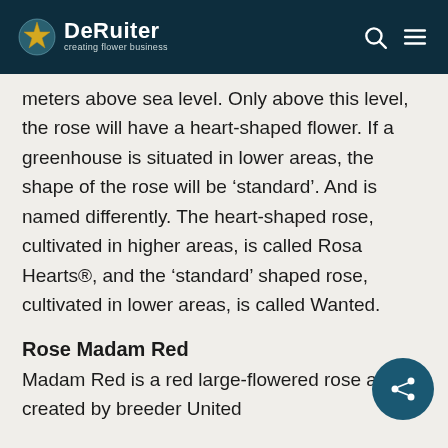DeRuiter – creating flower business
meters above sea level. Only above this level, the rose will have a heart-shaped flower. If a greenhouse is situated in lower areas, the shape of the rose will be 'standard'. And is named differently. The heart-shaped rose, cultivated in higher areas, is called Rosa Hearts®, and the 'standard' shaped rose, cultivated in lower areas, is called Wanted.
Rose Madam Red
Madam Red is a red large-flowered rose and created by breeder United